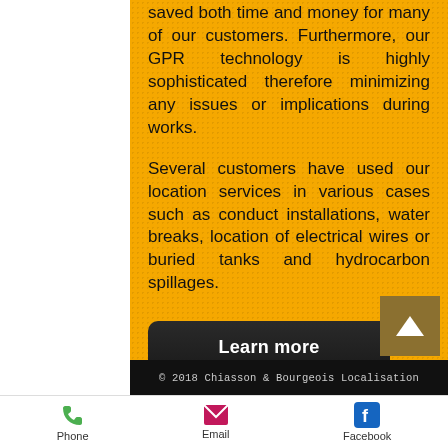saved both time and money for many of our customers. Furthermore, our GPR technology is highly sophisticated therefore minimizing any issues or implications during works.
Several customers have used our location services in various cases such as conduct installations, water breaks, location of electrical wires or buried tanks and hydrocarbon spillages.
Learn more
© 2018 Chiasson & Bourgeois Localisation
Phone  Email  Facebook